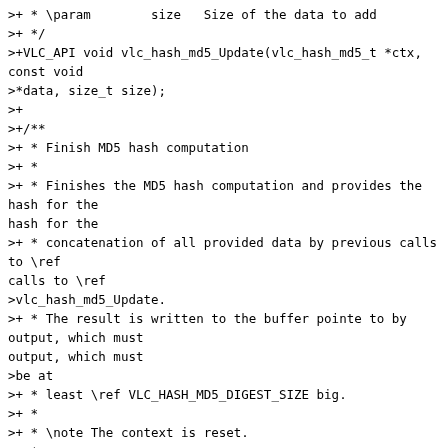>+ * \param        size   Size of the data to add
>+ */
>+VLC_API void vlc_hash_md5_Update(vlc_hash_md5_t *ctx, const void
>*data, size_t size);
>+
>+/**
>+ * Finish MD5 hash computation
>+ *
>+ * Finishes the MD5 hash computation and provides the hash for the
>+ * concatenation of all provided data by previous calls to \ref
>vlc_hash_md5_Update.
>+ * The result is written to the buffer pointe to by output, which must
>be at
>+ * least \ref VLC_HASH_MD5_DIGEST_SIZE big.
>+ *
>+ * \note The context is reset.
>+ *
>+ * \param[in,out] ctx    MD5 hash context to finish
>+ * \param[out]   output Output buffer to write to
>+ * \param        size   Output buffer size
>+ */
>+VLC_API void vlc_hash_md5_Finish(vlc_hash_md5_t *ctx, void *output,
>size_t size);
>+
>+/**